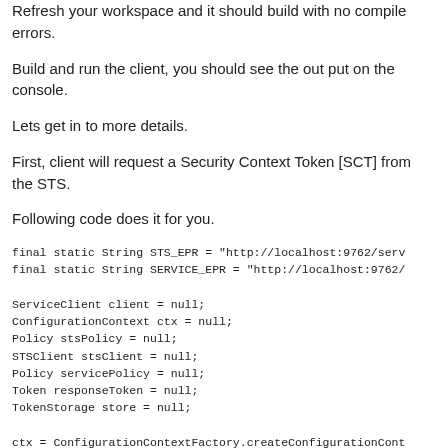Refresh your workspace and it should build with no compile errors.
Build and run the client, you should see the out put on the console.
Lets get in to more details.
First, client will request a Security Context Token [SCT] from the STS.
Following code does it for you.
final static String STS_EPR = "http://localhost:9762/serv
final static String SERVICE_EPR = "http://localhost:9762/

ServiceClient client = null;
ConfigurationContext ctx = null;
Policy stsPolicy = null;
STSClient stsClient = null;
Policy servicePolicy = null;
Token responseToken = null;
TokenStorage store = null;

ctx = ConfigurationContextFactory.createConfigurationCont
ctx = ConfigurationContextFactory.createConfigurationCont